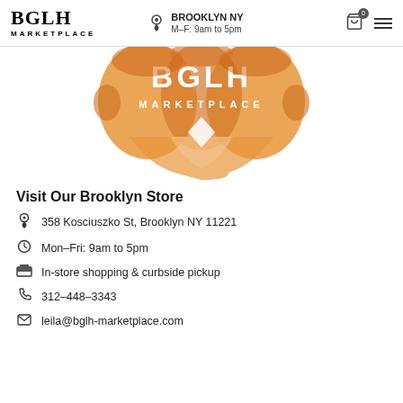BGLH MARKETPLACE | BROOKLYN NY M-F: 9am to 5pm
[Figure (logo): BGLH Marketplace logo with stylized faces in orange tones and the text BGLH MARKETPLACE]
Visit Our Brooklyn Store
358 Kosciuszko St, Brooklyn NY 11221
Mon-Fri: 9am to 5pm
In-store shopping & curbside pickup
312-448-3343
leila@bglh-marketplace.com